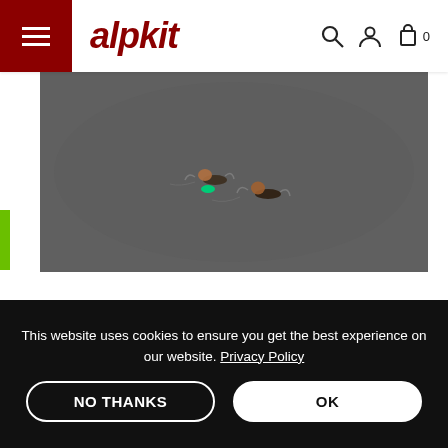alpkit — navigation bar with hamburger menu, search, account, and cart icons
[Figure (photo): Aerial view of two open-water swimmers in a dark lake, one with a green tow float visible]
The mile of swimming across this lake is broken up by 3 islands which you must visit. Psychologically this is a big help, with the swim effectively broken into 4 shorter
This website uses cookies to ensure you get the best experience on our website. Privacy Policy
NO THANKS
OK